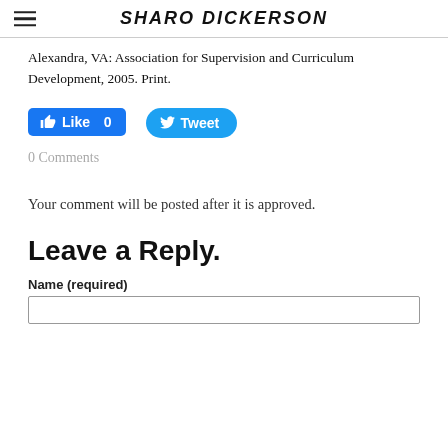SHARO DICKERSON
Alexandra, VA: Association for Supervision and Curriculum Development, 2005. Print.
[Figure (other): Facebook Like button showing 0 likes and Twitter Tweet button]
0 Comments
Your comment will be posted after it is approved.
Leave a Reply.
Name (required)